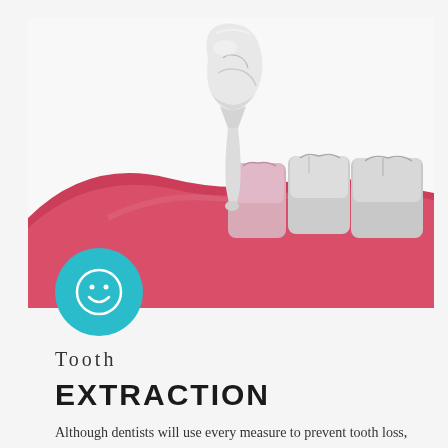[Figure (illustration): 3D medical illustration of a tooth being extracted from the lower jaw. A single molar tooth is shown lifted upward out of the gum (pink/red gum tissue visible), with three adjacent molars remaining in place. The extracted tooth has a root visible at the bottom.]
[Figure (logo): Teal/cyan circular badge with a white smiley face icon inside]
Tooth
EXTRACTION
Although dentists will use every measure to prevent tooth loss, there still sometimes necessary occasions